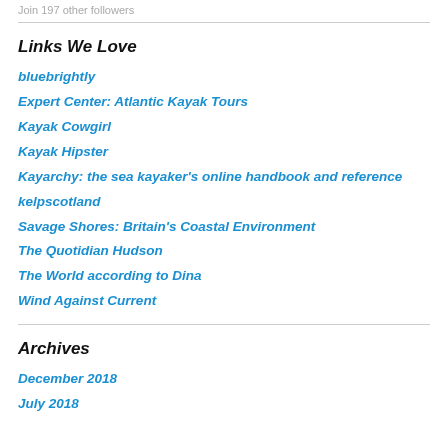Join 197 other followers
Links We Love
bluebrightly
Expert Center: Atlantic Kayak Tours
Kayak Cowgirl
Kayak Hipster
Kayarchy: the sea kayaker's online handbook and reference
kelpscotland
Savage Shores: Britain's Coastal Environment
The Quotidian Hudson
The World according to Dina
Wind Against Current
Archives
December 2018
July 2018